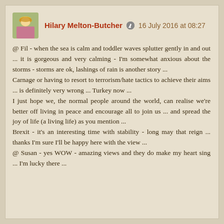Hilary Melton-Butcher · 16 July 2016 at 08:27
@ Fil - when the sea is calm and toddler waves splutter gently in and out ... it is gorgeous and very calming - I'm somewhat anxious about the storms - storms are ok, lashings of rain is another story ...
Carnage or having to resort to terrorism/hate tactics to achieve their aims ... is definitely very wrong ... Turkey now ...
I just hope we, the normal people around the world, can realise we're better off living in peace and encourage all to join us ... and spread the joy of life (a living life) as you mention ...
Brexit - it's an interesting time with stability - long may that reign ... thanks I'm sure I'll be happy here with the view ...
@ Susan - yes WOW - amazing views and they do make my heart sing ... I'm lucky there ...